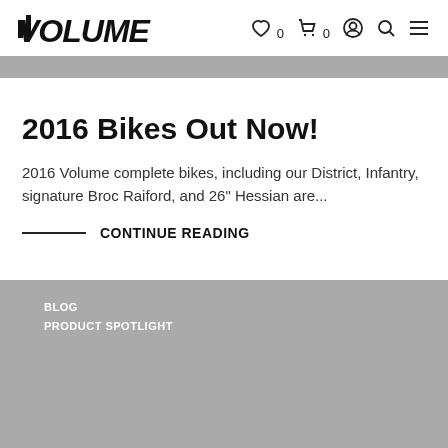VOLUME  ♡ 0  🛒 0  👤  🔍  ≡
[Figure (other): Gray horizontal banner bar at top of content area]
2016 Bikes Out Now!
2016 Volume complete bikes, including our District, Infantry, signature Broc Raiford, and 26" Hessian are...
CONTINUE READING
BLOG
PRODUCT SPOTLIGHT